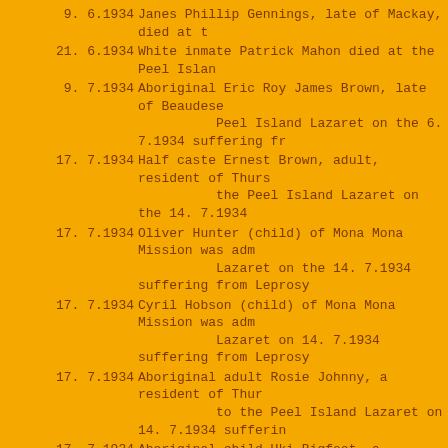9. 6.1934 Janes Phillip Gennings, late of Mackay, died at t
21. 6.1934 White inmate Patrick Mahon died at the Peel Islan
9. 7.1934 Aboriginal Eric Roy James Brown, late of Beaudese Peel Island Lazaret on the 6. 7.1934 suffering fr
17. 7.1934 Half caste Ernest Brown, adult, resident of Thurs the Peel Island Lazaret on the 14. 7.1934
17. 7.1934 Oliver Hunter (child) of Mona Mona Mission was adm Lazaret on the 14. 7.1934 suffering from Leprosy
17. 7.1934 Cyril Hobson (child) of Mona Mona Mission was adm Lazaret on 14. 7.1934 suffering from Leprosy
17. 7.1934 Aboriginal adult Rosie Johnny, a resident of Thur to the Peel Island Lazaret on 14. 7.1934 sufferin
17. 7.1934 Aboriginal child Uki Bigfoot, a resident of Thurs to the Peel Island Lazaret on 14. 7.1934 sufferin
17. 7.1934 Half-caste child Percy Wales of Thursday Island w Lazaret on 14. 7.1934 suffering from Leprosy
2. 8.1934 Ivy Boulter died at the Peel Island Lazaret on 30
2. 8.1934 Perch Chamberlain died at the Peel Island Lazare
20. 8.1934 White inmate Mrs Violet Irwin was discharged from
27. 8.1934 Aboriginal adult Rosie Johnny died at the Peel Is